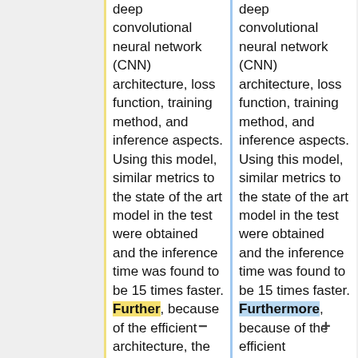deep convolutional neural network (CNN) architecture, loss function, training method, and inference aspects. Using this model, similar metrics to the state of the art model in the test were obtained and the inference time was found to be 15 times faster. Further, because of the efficient architecture, the system can
deep convolutional neural network (CNN) architecture, loss function, training method, and inference aspects. Using this model, similar metrics to the state of the art model in the test were obtained and the inference time was found to be 15 times faster. Furthermore, because of the efficient architecture, the system can be